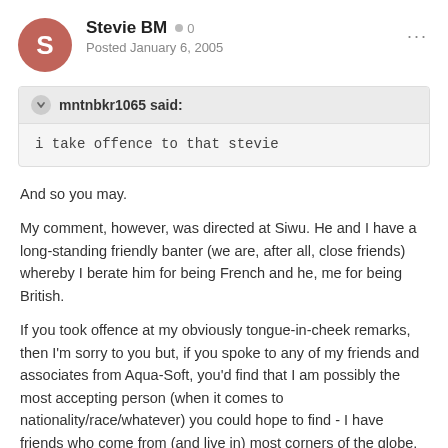Stevie BM · 0 · Posted January 6, 2005
mntnbkr1065 said:
i take offence to that stevie
And so you may.

My comment, however, was directed at Siwu. He and I have a long-standing friendly banter (we are, after all, close friends) whereby I berate him for being French and he, me for being British.

If you took offence at my obviously tongue-in-cheek remarks, then I'm sorry to you but, if you spoke to any of my friends and associates from Aqua-Soft, you'd find that I am possibly the most accepting person (when it comes to nationality/race/whatever) you could hope to find - I have friends who come from (and live in) most corners of the globe, and of most religions and nationalities.